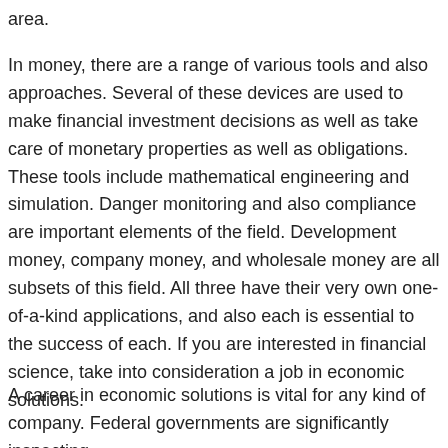area.
In money, there are a range of various tools and also approaches. Several of these devices are used to make financial investment decisions as well as take care of monetary properties as well as obligations. These tools include mathematical engineering and simulation. Danger monitoring and also compliance are important elements of the field. Development money, company money, and wholesale money are all subsets of this field. All three have their very own one-of-a-kind applications, and also each is essential to the success of each. If you are interested in financial science, take into consideration a job in economic solutions.
A career in economic solutions is vital for any kind of company. Federal governments are significantly inspecting